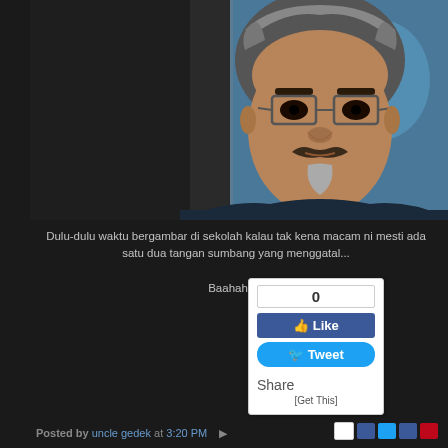[Figure (photo): Portrait photo of a middle-aged man with gray-streaked hair, glasses, mustache and goatee, wearing a dark navy shirt, against a wall with colorful mural background]
Dulu-dulu waktu bergambar di sekolah kalau tak kena macam ni mesti ada satu dua tangan sumbang yang menggatal...
Baahaha...
[Figure (screenshot): Social sharing widget with Like count (0), Like button, Tweet button, Share label, and [Get This] link]
Posted by uncle gedek at 3:20 PM